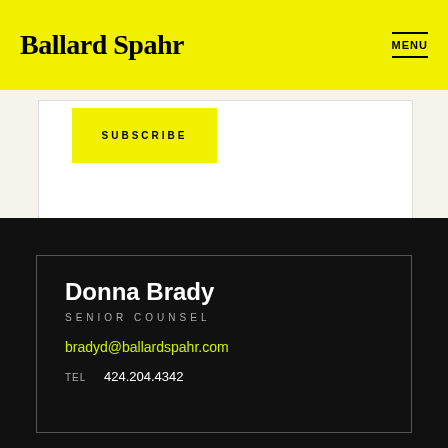Ballard Spahr
MENU
SUBSCRIBE
Donna Brady
SENIOR COUNSEL
bradyd@ballardspahr.com
TEL   424.204.4342